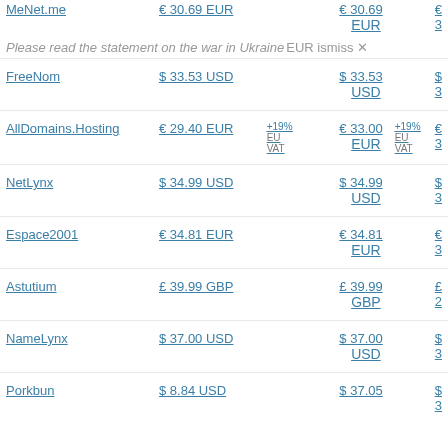| Registrar | Price | Note | Renewal | Note2 | Transfer |
| --- | --- | --- | --- | --- | --- |
| MeNet.me | € 30.69 EUR |  | € 30.69 EUR |  | € ... |
| FreeNom | $ 33.53 USD |  | $ 33.53 USD |  | $ ... |
| AllDomains.Hosting | € 29.40 EUR | +19% EU VAT | € 33.00 EUR | +19% EU VAT | € ... |
| NetLynx | $ 34.99 USD |  | $ 34.99 USD |  | $ ... |
| Espace2001 | € 34.81 EUR |  | € 34.81 EUR |  | € ... |
| Astutium | £ 39.99 GBP |  | £ 39.99 GBP |  | £ ... |
| NameLynx | $ 37.00 USD |  | $ 37.00 USD |  | $ ... |
| Porkbun | $ 8.84 USD |  | $ 37.05 |  | $ ... |